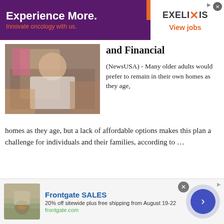[Figure (photo): Advertisement banner: purple/dark magenta background with white bold text 'Experience More.' and orange text 'Innovate oncology with us.' on the left; orange and purple diagonal divider; Exelixis logo and orange 'View jobs' text on white right panel]
and Financial
[Figure (photo): Elderly woman in white top and colorful necklace sitting in chair, hands being held by another person]
(NewsUSA) - Many older adults would prefer to remain in their own homes as they age, but a lack of affordable options makes this plan a challenge for individuals and their families, according to …
Costs of Aging in Place are Emotional and Financial
[Figure (photo): Elderly woman with glasses and white hair sitting in chair, hands being held by caregiver]
(NewsUSA) - Many older
[Figure (photo): Bottom advertisement: Frontgate SALES - 20% off sitewide plus free shipping from August 19-22, frontgate.com. Shows outdoor furniture with fire pit image.]